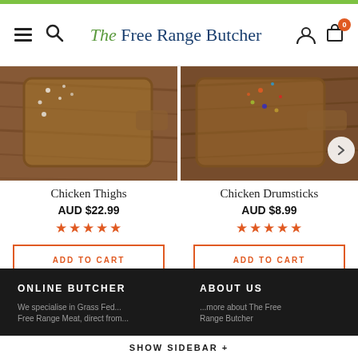The Free Range Butcher — navigation header with search, logo, user and cart icons
[Figure (photo): Chicken Thighs product photo showing wooden cutting board with salt, top-down view]
[Figure (photo): Chicken Drumsticks product photo showing wooden cutting board with spices, top-down view]
Chicken Thighs
AUD $22.99
★★★★★
ADD TO CART
Chicken Drumsticks
AUD $8.99
★★★★★
ADD TO CART
ONLINE BUTCHER
ABOUT US
We specialise in Grass Fed...Free Range Meat, direct from...
...more about The Free Range Butcher
SHOW SIDEBAR +